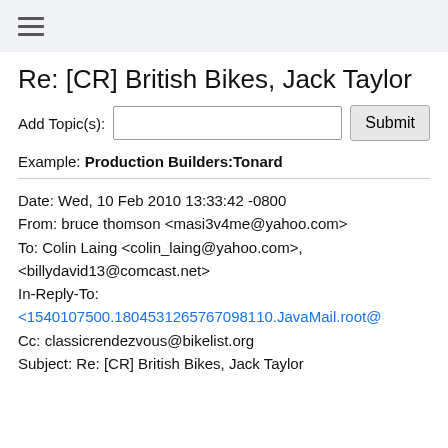≡
Re: [CR] British Bikes, Jack Taylor
Add Topic(s): [input field] Submit
Example: Production Builders:Tonard
Date: Wed, 10 Feb 2010 13:33:42 -0800
From: bruce thomson <masi3v4me@yahoo.com>
To: Colin Laing <colin_laing@yahoo.com>, <billydavid13@comcast.net>
In-Reply-To:
<1540107500.1804531265767098110.JavaMail.root@
Cc: classicrendezvous@bikelist.org
Subject: Re: [CR] British Bikes, Jack Taylor